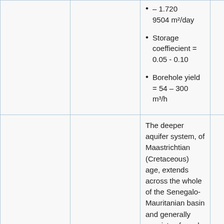|  |  | • – 1.720
9504 m²/day
• Storage coeffiecient = 0.05 - 0.10
• Borehole yield = 54 – 300 m³/h |  |
|  |  | The deeper aquifer system, of Maastrichtian (Cretaceous) age, extends across the whole of the Senegalo-Mauritanian basin and generally consists of sand, sandy-clay and calcareous |  |